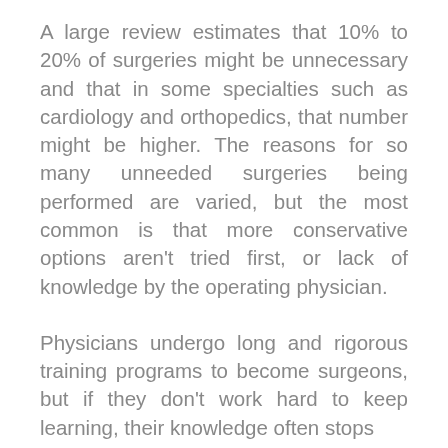A large review estimates that 10% to 20% of surgeries might be unnecessary and that in some specialties such as cardiology and orthopedics, that number might be higher. The reasons for so many unneeded surgeries being performed are varied, but the most common is that more conservative options aren't tried first, or lack of knowledge by the operating physician.
Physicians undergo long and rigorous training programs to become surgeons, but if they don't work hard to keep learning, their knowledge often stops